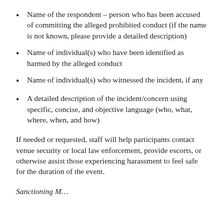Name of the respondent – person who has been accused of committing the alleged prohibited conduct (if the name is not known, please provide a detailed description)
Name of individual(s) who have been identified as harmed by the alleged conduct
Name of individual(s) who witnessed the incident, if any
A detailed description of the incident/concern using specific, concise, and objective language (who, what, where, when, and how)
If needed or requested, staff will help participants contact venue security or local law enforcement, provide escorts, or otherwise assist those experiencing harassment to feel safe for the duration of the event.
Sanctioning M…